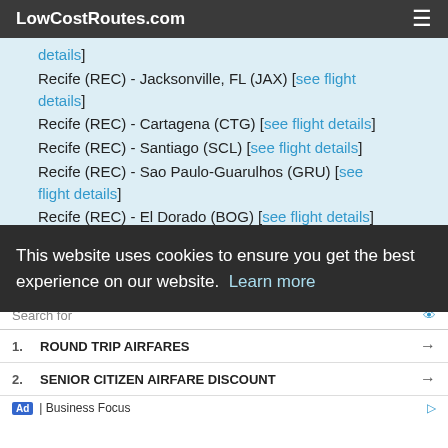LowCostRoutes.com
details]
Recife (REC) - Jacksonville, FL (JAX) [see flight details]
Recife (REC) - Cartagena (CTG) [see flight details]
Recife (REC) - Santiago (SCL) [see flight details]
Recife (REC) - Sao Paulo-Guarulhos (GRU) [see flight details]
Recife (REC) - El Dorado (BOG) [see flight details]
Rio de Janeiro (GIG) - Nashville, TN (BNA) [see flight details]
This website uses cookies to ensure you get the best experience on our website. Learn more
Search for
1. ROUND TRIP AIRFARES
2. SENIOR CITIZEN AIRFARE DISCOUNT
Ad | Business Focus